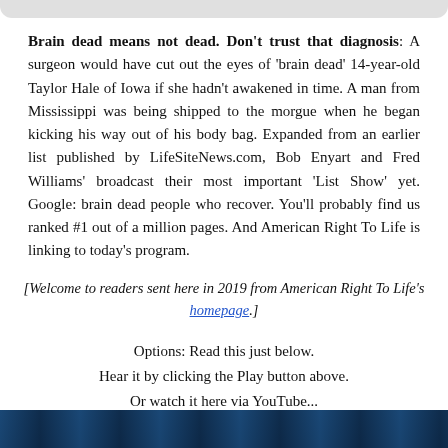Brain dead means not dead. Don't trust that diagnosis: A surgeon would have cut out the eyes of 'brain dead' 14-year-old Taylor Hale of Iowa if she hadn't awakened in time. A man from Mississippi was being shipped to the morgue when he began kicking his way out of his body bag. Expanded from an earlier list published by LifeSiteNews.com, Bob Enyart and Fred Williams' broadcast their most important 'List Show' yet. Google: brain dead people who recover. You'll probably find us ranked #1 out of a million pages. And American Right To Life is linking to today's program.
[Welcome to readers sent here in 2019 from American Right To Life's homepage.]
Options: Read this just below.
Hear it by clicking the Play button above.
Or watch it here via YouTube...
[Figure (photo): Dark blue/teal abstract background image at the bottom of the page]